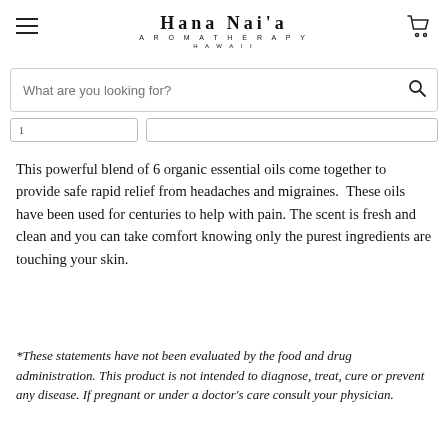HANA NAI'A AROMATHERAPY HAWAII
This powerful blend of 6 organic essential oils come together to provide safe rapid relief from headaches and migraines. These oils have been used for centuries to help with pain. The scent is fresh and clean and you can take comfort knowing only the purest ingredients are touching your skin.
*These statements have not been evaluated by the food and drug administration. This product is not intended to diagnose, treat, cure or prevent any disease. If pregnant or under a doctor's care consult your physician.